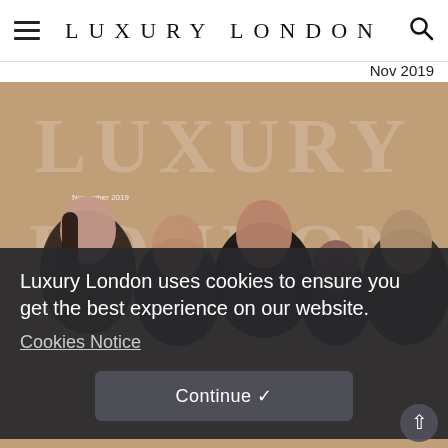LUXURY LONDON   Nov 2019
[Figure (photo): Luxury London magazine November 2019 cover featuring five models dressed in black formal attire against a beige/gold background with large serif LUXURY LONDON text overlay. Small text reads 'November 2019 £7.00'.]
Luxury London uses cookies to ensure you get the best experience on our website.
Cookies Notice
Continue ✓